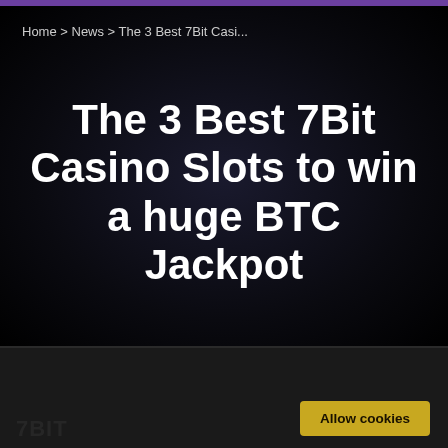Home > News > The 3 Best 7Bit Casi...
The 3 Best 7Bit Casino Slots to win a huge BTC Jackpot
This website makes use of cookies to enhance browsing experience and provide additional functionality.  Details
Allow cookies